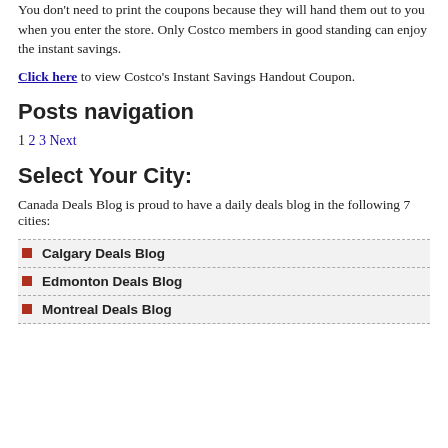You don't need to print the coupons because they will hand them out to you when you enter the store. Only Costco members in good standing can enjoy the instant savings.
Click here to view Costco's Instant Savings Handout Coupon.
Posts navigation
1 2 3 Next
Select Your City:
Canada Deals Blog is proud to have a daily deals blog in the following 7 cities:
Calgary Deals Blog
Edmonton Deals Blog
Montreal Deals Blog